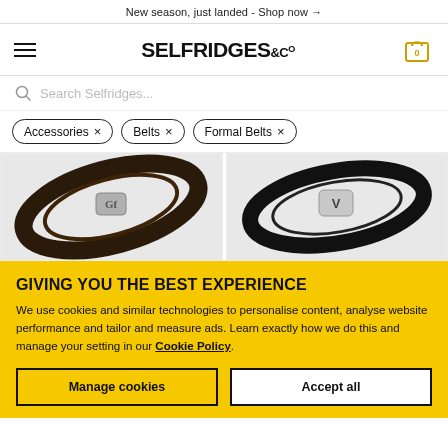New season, just landed - Shop now →
[Figure (logo): Selfridges & Co logo with hamburger menu and shopping cart icon with 0 items]
Search Selfridges...
Accessories ×
Belts ×
Formal Belts ×
[Figure (photo): Ferragamo reversible leather belt with silver double-Gancini buckle, coiled on white/grey background]
[Figure (photo): Valentino black leather belt with silver VLogo buckle, coiled on grey background]
GIVING YOU THE BEST EXPERIENCE
We use cookies and similar technologies to personalise content, analyse website performance and tailor and measure ads. Learn exactly how we do this and manage your setting in our Cookie Policy.
Manage cookies
Accept all